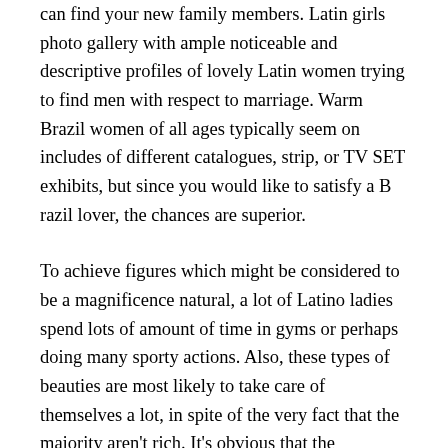can find your new family members. Latin girls photo gallery with ample noticeable and descriptive profiles of lovely Latin women trying to find men with respect to marriage. Warm Brazil women of all ages typically seem on includes of different catalogues, strip, or TV SET exhibits, but since you would like to satisfy a B razil lover, the chances are superior.
To achieve figures which might be considered to be a magnificence natural, a lot of Latino ladies spend lots of amount of time in gyms or perhaps doing many sporty actions. Also, these types of beauties are most likely to take care of themselves a lot, in spite of the very fact that the majority aren't rich. It's obvious that the monetary aspect of wedding ceremony is important to a Latina star of the event. Latin women usually have no the best-paying jobs, which is why they rely on their husbands to be the